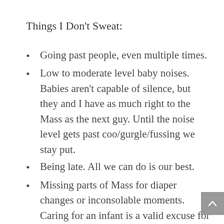Things I Don’t Sweat:
Going past people, even multiple times.
Low to moderate level baby noises. Babies aren’t capable of silence, but they and I have as much right to the Mass as the next guy. Until the noise level gets past coo/gurgle/fussing we stay put.
Being late. All we can do is our best.
Missing parts of Mass for diaper changes or inconsolable moments. Caring for an infant is a valid excuse for missing Mass entirely, it’s certainly a valid excuse for missing